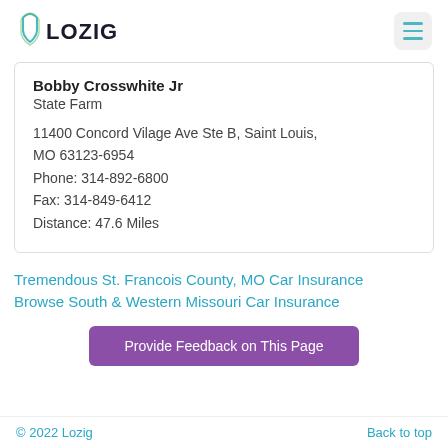LOZIG
Bobby Crosswhite Jr
State Farm

11400 Concord Vilage Ave Ste B, Saint Louis, MO 63123-6954
Phone: 314-892-6800
Fax: 314-849-6412
Distance: 47.6 Miles
Tremendous St. Francois County, MO Car Insurance
Browse South & Western Missouri Car Insurance
Provide Feedback on This Page
© 2022 Lozig    Back to top